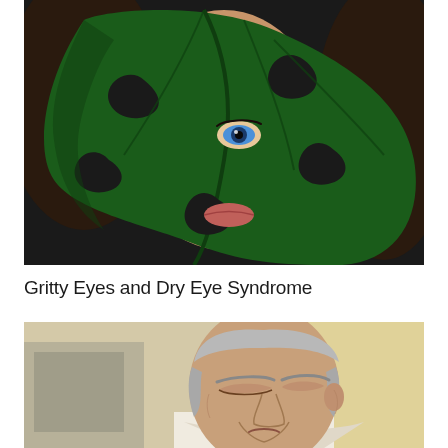[Figure (photo): Close-up photo of a young woman with blue eyes peering through a large green tropical monstera leaf held up to her face, covering most of her features except one eye and her lips]
Gritty Eyes and Dry Eye Syndrome
[Figure (photo): Photo of an older man with silver/grey hair, squinting in sunlight, looking upward, with a slight smile, outdoors with blurred background]